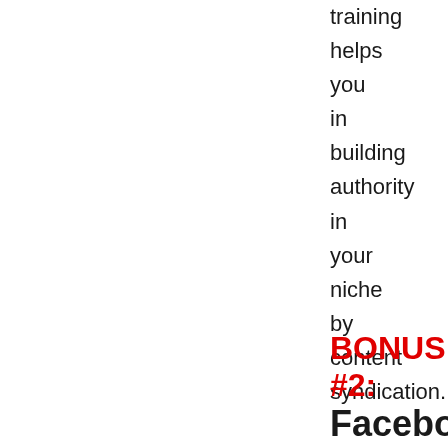training helps you in building authority in your niche by content syndication.
BONUS #2: Facebook Marketing